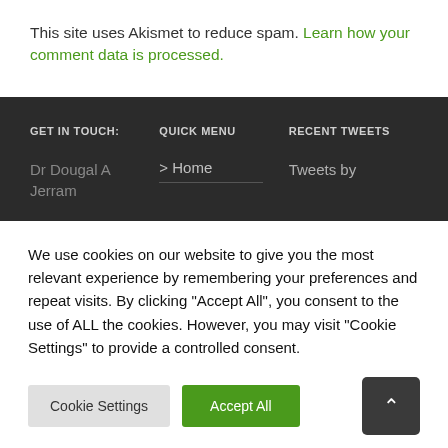This site uses Akismet to reduce spam. Learn how your comment data is processed.
GET IN TOUCH:
QUICK MENU
RECENT TWEETS
Dr Dougal A Jerram
> Home
Tweets by
We use cookies on our website to give you the most relevant experience by remembering your preferences and repeat visits. By clicking "Accept All", you consent to the use of ALL the cookies. However, you may visit "Cookie Settings" to provide a controlled consent.
Cookie Settings
Accept All